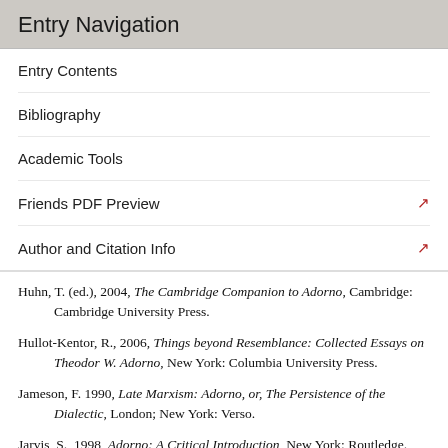Entry Navigation
Entry Contents
Bibliography
Academic Tools
Friends PDF Preview
Author and Citation Info
Huhn, T. (ed.), 2004, The Cambridge Companion to Adorno, Cambridge: Cambridge University Press.
Hullot-Kentor, R., 2006, Things beyond Resemblance: Collected Essays on Theodor W. Adorno, New York: Columbia University Press.
Jameson, F. 1990, Late Marxism: Adorno, or, The Persistence of the Dialectic, London; New York: Verso.
Jarvis, S., 1998, Adorno: A Critical Introduction, New York: Routledge.